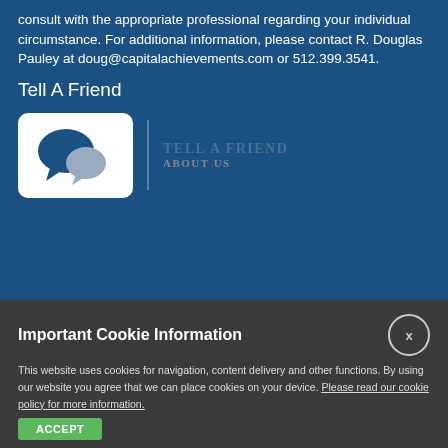consult with the appropriate professional regarding your individual circumstance.  For additional information, please contact R. Douglas Pauley at doug@capitalachievements.com or 512.399.3541.
Tell A Friend
[Figure (logo): Tell A Friend About Us logo with speech bubble icons and text]
Important Cookie Information
This website uses cookies for navigation, content delivery and other functions. By using our website you agree that we can place cookies on your device. Please read our cookie policy for more information.
ACCEPT